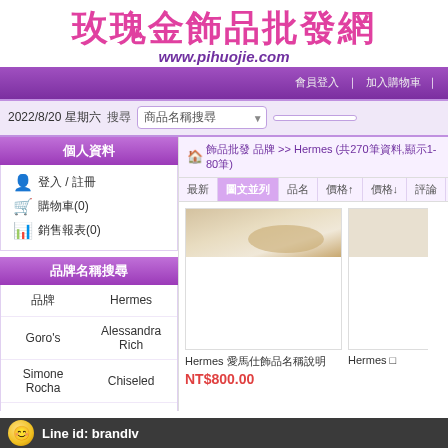玫瑰金飾品批發網
www.pihuojie.com
個人資料
登入 / 註冊
購物車(0)
銷售報表(0)
品牌名稱搜尋
| 品牌 | Hermes |
| Goro's | Alessandra Rich |
| Simone Rocha | Chiseled |
| Balenciaga | Fred |
🏠 飾品批發 品牌 >> Hermes (共270筆資料,顯示1-80筆)
最新 圖文並列 品名 價格↑ 價格↓ 評論 留言
[Figure (photo): Product image of Hermes item, partially visible, showing a beige/gold object]
Hermes 愛馬仕飾品名稱說明
NT$800.00
Line id: brandlv